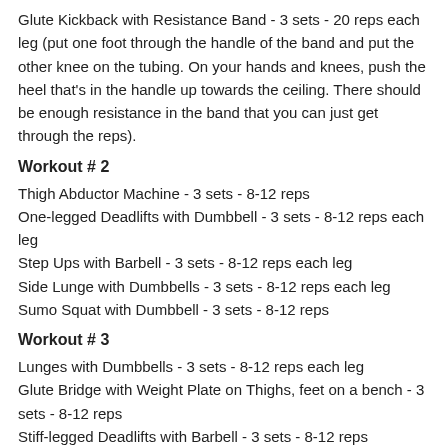Glute Kickback with Resistance Band - 3 sets - 20 reps each leg (put one foot through the handle of the band and put the other knee on the tubing. On your hands and knees, push the heel that's in the handle up towards the ceiling. There should be enough resistance in the band that you can just get through the reps).
Workout # 2
Thigh Abductor Machine - 3 sets - 8-12 reps
One-legged Deadlifts with Dumbbell - 3 sets - 8-12 reps each leg
Step Ups with Barbell - 3 sets - 8-12 reps each leg
Side Lunge with Dumbbells - 3 sets - 8-12 reps each leg
Sumo Squat with Dumbbell - 3 sets - 8-12 reps
Workout # 3
Lunges with Dumbbells - 3 sets - 8-12 reps each leg
Glute Bridge with Weight Plate on Thighs, feet on a bench - 3 sets - 8-12 reps
Stiff-legged Deadlifts with Barbell - 3 sets - 8-12 reps
Heavy Squat - 3 sets - 6-8 reps